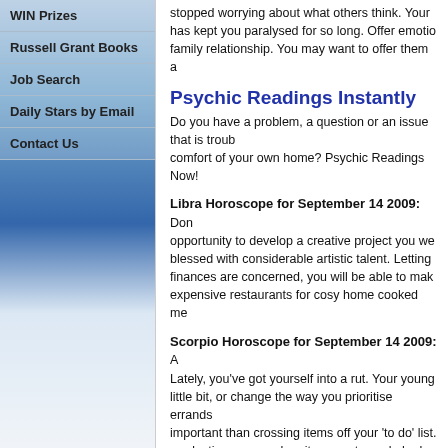WIN Prizes
Russell Grant Books
Job Search
Daily Stars by Email
Contact Us
stopped worrying about what others think. Your has kept you paralysed for so long. Offer emotio family relationship. You may want to offer them a
Psychic Readings Instantly
Do you have a problem, a question or an issue that is troub comfort of your own home? Psychic Readings Now!
Libra Horoscope for September 14 2009: Don opportunity to develop a creative project you we blessed with considerable artistic talent. Letting finances are concerned, you will be able to mak expensive restaurants for cosy home cooked me
Scorpio Horoscope for September 14 2009: A Lately, you've got yourself into a rut. Your young little bit, or change the way you prioritise errands important than crossing items off your 'to do' list. productive as you when it comes to work, he ha
Sagittarius Horoscope for September 14 200 welcome breath of fresh air into your domestic li and making plans for the future. A high profile po